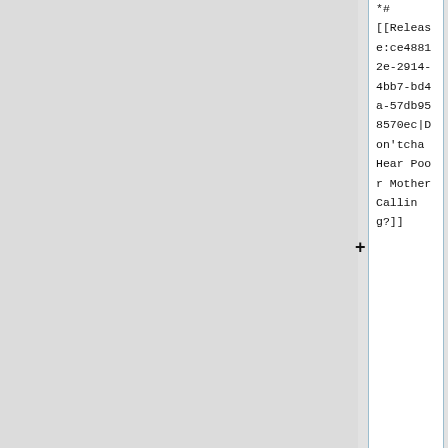*#
[[Release:ce48812e-2914-4bb7-bd4a-57db958570ec|Don'tcha Hear Poor Mother Calling?]]
*
[[Release:04957ddc-7dea-4eb4-a82f-2dc37d961156|Sing Christmas and the Turn of the